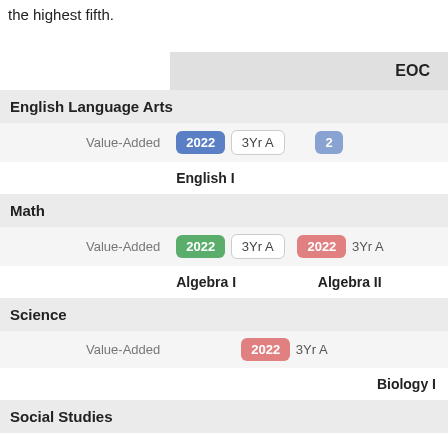the highest fifth.
|  | EOC |
| --- | --- |
| English Language Arts |  |
| Value-Added | 2022  3Yr A | 2... |
|  | English I |
| Math |  |
| Value-Added | 2022  3Yr A | 2022  3Yr A |
|  | Algebra I  |  Algebra II |
| Science |  |
| Value-Added | 2022  3Yr A |
|  | Biology I |
| Social Studies |  |